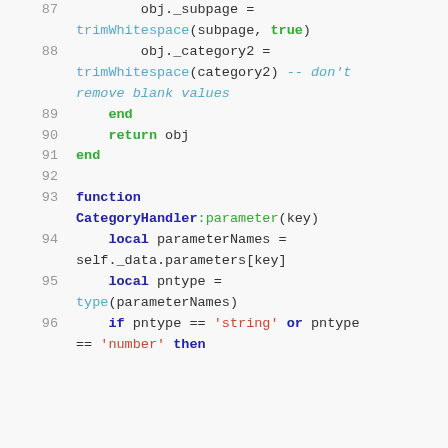Code snippet lines 87-96 showing Lua/scripting code with CategoryHandler function
87   obj._subpage = trimWhitespace(subpage, true)
88   obj._category2 = trimWhitespace(category2) -- don't remove blank values
89   end
90   return obj
91 end
92
93 function CategoryHandler:parameter(key)
94   local parameterNames = self._data.parameters[key]
95   local pntype = type(parameterNames)
96   if pntype == 'string' or pntype == 'number' then